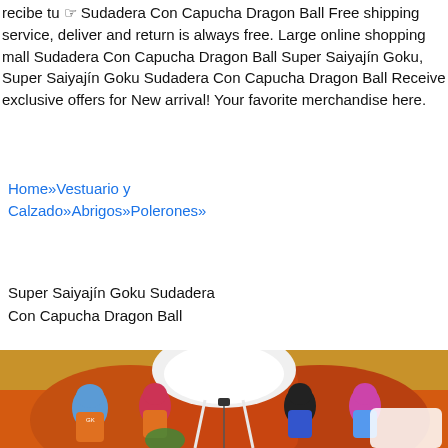recibe tu ☞ Sudadera Con Capucha Dragon Ball Free shipping service, deliver and return is always free. Large online shopping mall Sudadera Con Capucha Dragon Ball Super Saiyajín Goku, Super Saiyajín Goku Sudadera Con Capucha Dragon Ball Receive exclusive offers for New arrival! Your favorite merchandise here.
Home»Vestuario y Calzado»Abrigos»Polerones»
Super Saiyajín Goku Sudadera Con Capucha Dragon Ball
[Figure (photo): A Dragon Ball themed hoodie with 3D print showing multiple Super Saiyajín Goku forms on an orange background, with a white hood visible at the top center.]